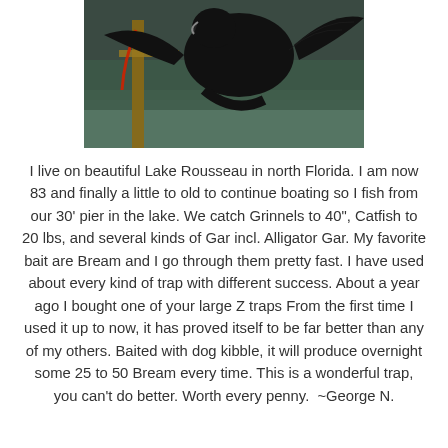[Figure (photo): Photograph of a large dark bird (appears to be a buzzard or vulture) being held or displayed outdoors near water with vegetation in the background. A red leash or cord is visible.]
I live on beautiful Lake Rousseau in north Florida. I am now 83 and finally a little to old to continue boating so I fish from our 30' pier in the lake. We catch Grinnels to 40", Catfish to 20 lbs, and several kinds of Gar incl. Alligator Gar. My favorite bait are Bream and I go through them pretty fast. I have used about every kind of trap with different success. About a year ago I bought one of your large Z traps From the first time I used it up to now, it has proved itself to be far better than any of my others. Baited with dog kibble, it will produce overnight some 25 to 50 Bream every time. This is a wonderful trap, you can't do better. Worth every penny.  ~George N.